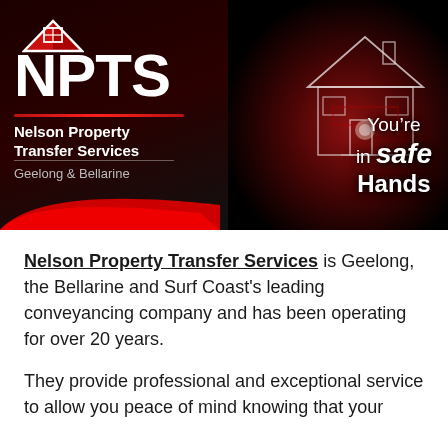[Figure (logo): NPTS Nelson Property Transfer Services banner with house logo, dark red/black background, and 'You're in safe Hands' tagline with a holographic house held in hands image]
Nelson Property Transfer Services is Geelong, the Bellarine and Surf Coast's leading conveyancing company and has been operating for over 20 years.
They provide professional and exceptional service to allow you peace of mind knowing that your